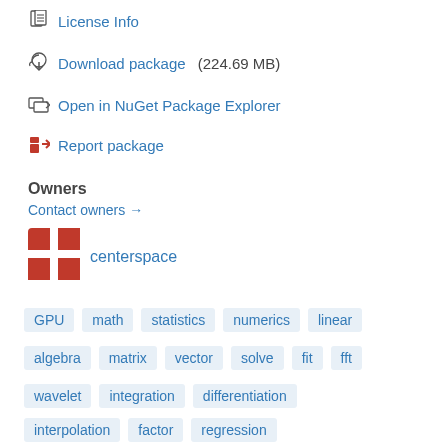License Info
Download package (224.69 MB)
Open in NuGet Package Explorer
Report package
Owners
Contact owners →
[Figure (logo): Centerspace red logo with white cross/grid pattern]
centerspace
GPU   math   statistics   numerics   linear   algebra   matrix   vector   solve   fit   fft   wavelet   integration   differentiation   interpolation   factor   regression